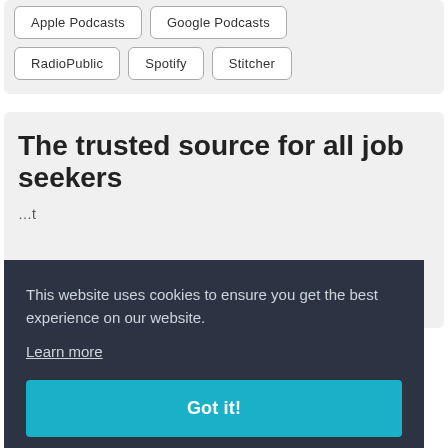Apple Podcasts
Google Podcasts
RadioPublic
Spotify
Stitcher
The trusted source for all job seekers
This website uses cookies to ensure you get the best experience on our website.
Learn more
Got it!